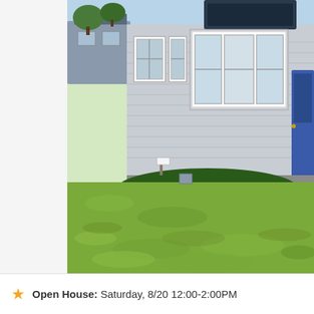[Figure (photo): Exterior photo of a single-story residential house with gray/beige siding, white-trimmed windows, a blue front door, and a well-maintained green lawn in the foreground. The house features a bay window area with a dark roof accent. The photo is taken from the front yard perspective showing the full front facade.]
Open House: Saturday, 8/20 12:00-2:00PM